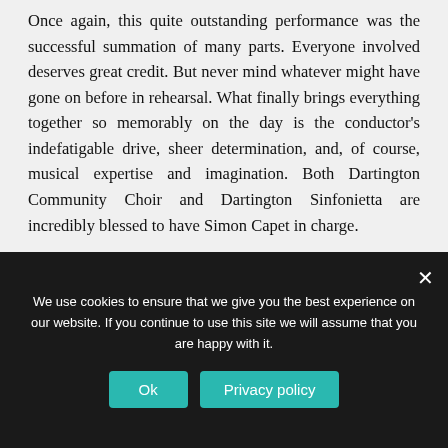Once again, this quite outstanding performance was the successful summation of many parts. Everyone involved deserves great credit. But never mind whatever might have gone on before in rehearsal. What finally brings everything together so memorably on the day is the conductor's indefatigable drive, sheer determination, and, of course, musical expertise and imagination. Both Dartington Community Choir and Dartington Sinfonietta are incredibly blessed to have Simon Capet in charge.
(partial line cut off at bottom of visible area)
We use cookies to ensure that we give you the best experience on our website. If you continue to use this site we will assume that you are happy with it.